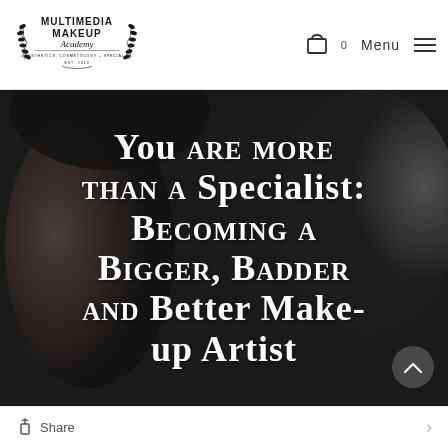[Figure (logo): Multimedia Makeup Academy of Esthetics, Cosmetology + Special FX, Est. 2010 logo with laurel wreath]
Menu
[Figure (photo): Dark moody close-up photo of a woman's face with dramatic makeup, dark background]
You are more than a Specialist: Becoming a Bigger, Badder and Better Make-up Artist
Share